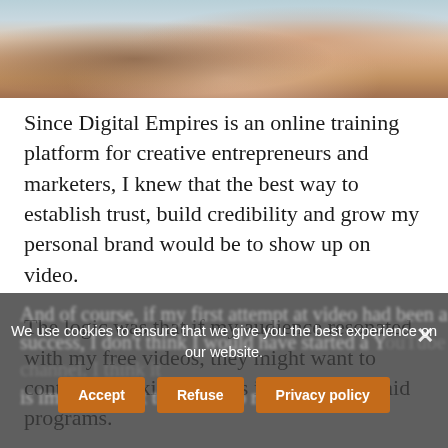[Figure (photo): Partial photo of two people, one in a pink top, appearing to be in a conversation or coaching session, cropped at top of page]
Since Digital Empires is an online training platform for creative entrepreneurs and marketers, I knew that the best way to establish trust, build credibility and grow my personal brand would be to show up on video.
The logic was that if my audience resonated with my free videos, they might want to continue working with us in one of our paid programs.
And of course, if my first attempt at video had been a success, I don't think I would have started a YouTube channel. I think it is important not to focus too much on...
We use cookies to ensure that we give you the best experience on our website.
Accept
Refuse
Privacy policy